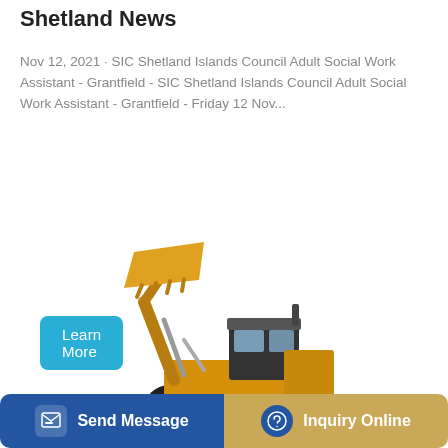Shetland News
Nov 12, 2021 · SIC Shetland Islands Council Adult Social Work Assistant - Grantfield - SIC Shetland Islands Council Adult Social Work Assistant - Grantfield - Friday 12 Nov...
Learn More
[Figure (photo): Yellow front loader / wheel loader construction vehicle on white background]
Send Message
Inquiry Online